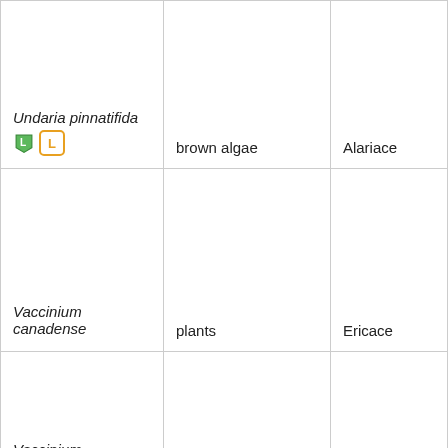| Species | Common name | Family |
| --- | --- | --- |
| Undaria pinnatifida [leaf-icon] [L-badge] | brown algae | Alariace… |
| Vaccinium canadense | plants | Ericace… |
| Vaccinium corymbosum [leaf-icon] [L-badge] | plants | Ericace… |